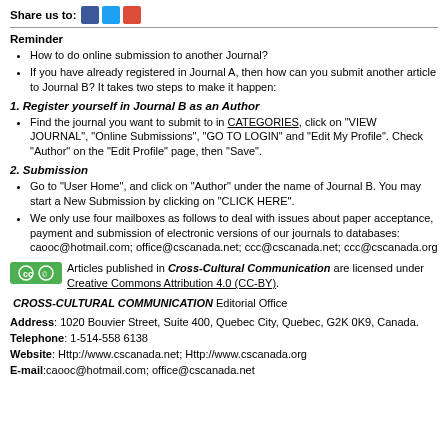Share us to:
Reminder
How to do online submission to another Journal?
If you have already registered in Journal A, then how can you submit another article to Journal B? It takes two steps to make it happen:
1. Register yourself in Journal B as an Author
Find the journal you want to submit to in CATEGORIES, click on "VIEW JOURNAL", "Online Submissions", "GO TO LOGIN" and "Edit My Profile". Check "Author" on the "Edit Profile" page, then "Save".
2. Submission
Go to "User Home", and click on "Author" under the name of Journal B. You may start a New Submission by clicking on "CLICK HERE".
We only use four mailboxes as follows to deal with issues about paper acceptance, payment and submission of electronic versions of our journals to databases: caooc@hotmail.com; office@cscanada.net; ccc@cscanada.net; ccc@cscanada.org
Articles published in Cross-Cultural Communication are licensed under Creative Commons Attribution 4.0 (CC-BY).
CROSS-CULTURAL COMMUNICATION Editorial Office
Address: 1020 Bouvier Street, Suite 400, Quebec City, Quebec, G2K 0K9, Canada.
Telephone: 1-514-558 6138
Website: Http://www.cscanada.net; Http://www.cscanada.org
E-mail:caooc@hotmail.com; office@cscanada.net